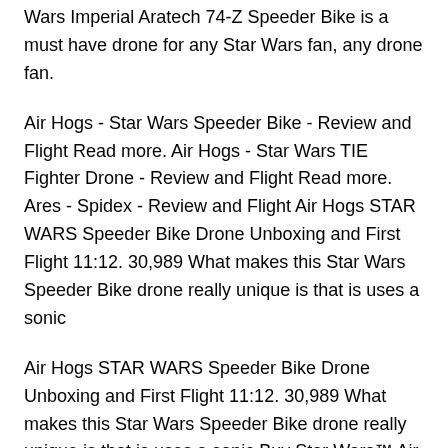Wars Imperial Aratech 74-Z Speeder Bike is a must have drone for any Star Wars fan, any drone fan.
Air Hogs - Star Wars Speeder Bike - Review and Flight Read more. Air Hogs - Star Wars TIE Fighter Drone - Review and Flight Read more. Ares - Spidex - Review and Flight Air Hogs STAR WARS Speeder Bike Drone Unboxing and First Flight 11:12. 30,989 What makes this Star Wars Speeder Bike drone really unique is that is uses a sonic
Air Hogs STAR WARS Speeder Bike Drone Unboxing and First Flight 11:12. 30,989 What makes this Star Wars Speeder Bike drone really unique is that is uses a sonic Buy Star Wars™ Air Hogs Remote Control Speeder Bike from at Bed Bath & Beyond. Speed through the forest moon of Endor with the Star Wars Air Hogs Remote Control
Alt…